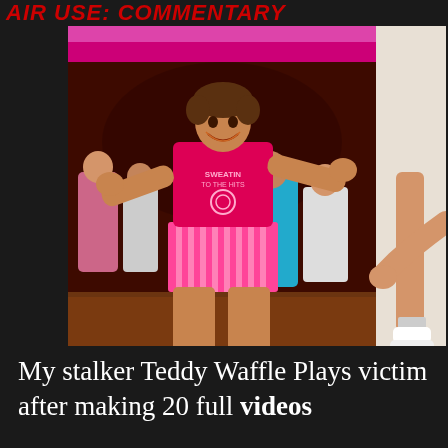AIR USE: COMMENTARY
[Figure (photo): Fitness instructor in pink tank top and striped shorts leading an aerobics class, arms outstretched, mid-exercise. Multiple participants visible in background in a dance/exercise studio. Second partial image on right shows legs of a person in white shoes against light background.]
My stalker Teddy Waffle Plays victim after making 20 full videos